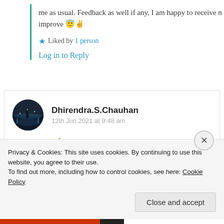me as usual. Feedback as well if any, I am happy to receive n improve 😇✌
★ Liked by 1 person
Log in to Reply
Dhirendra.S.Chauhan
12th Jun 2021 at 9:48 am
My pleasure 🙏
Privacy & Cookies: This site uses cookies. By continuing to use this website, you agree to their use.
To find out more, including how to control cookies, see here: Cookie Policy
Close and accept